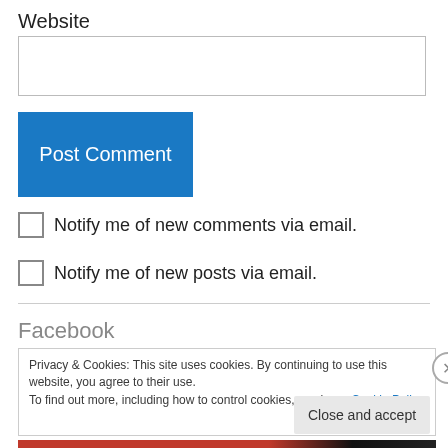Website
Post Comment
Notify me of new comments via email.
Notify me of new posts via email.
Facebook
Privacy & Cookies: This site uses cookies. By continuing to use this website, you agree to their use.
To find out more, including how to control cookies, see here: Cookie Policy
Close and accept